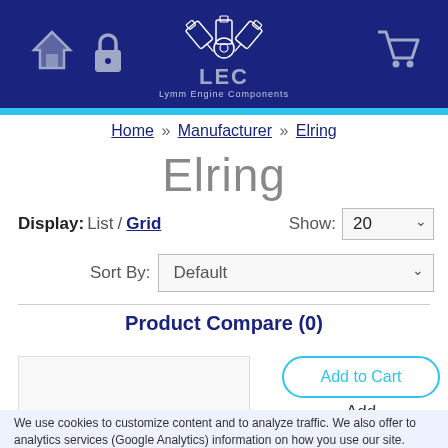[Figure (logo): LEC Lymm Engine Components logo with engine piston graphic, home icon, lock icon, and shopping cart icon on dark blue header]
Home » Manufacturer » Elring
Elring
Display: List / Grid   Show: 20
Sort By: Default
Product Compare (0)
[Figure (photo): Product image thumbnail showing engine components]
Add to Cart
Add
We use cookies to customize content and to analyze traffic. We also offer to analytics services (Google Analytics) information on how you use our site. They can combine them with other